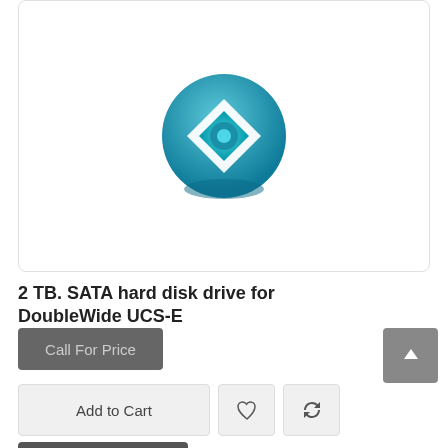[Figure (logo): Cisco-style teal/blue circular logo with a diamond-eye shape in the center on a white background]
2 TB. SATA hard disk drive for DoubleWide UCS-E
Call For Price
Add to Cart
Add to Quote